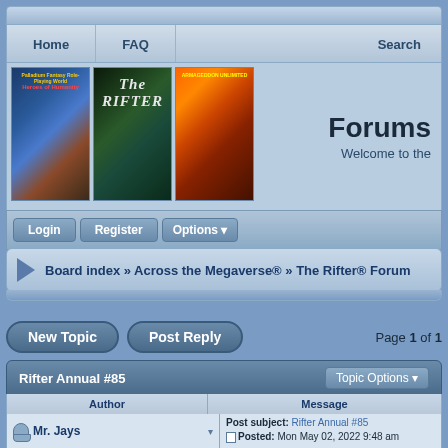Home | FAQ | Search
[Figure (screenshot): Three book covers: Heroes of Humanity, The Rifter, and Armageddon Unlimited]
Forums
Welcome to the
Login | Register | Options
Board index » Across the Megaverse® » The Rifter® Forum
New Topic  Post Reply  Page 1 of 1
Rifter Annual #85
| Author | Message |
| --- | --- |
| Mr. Jays | Post subject: Rifter Annual #85
Posted: Mon May 02, 2022 9:48 am |